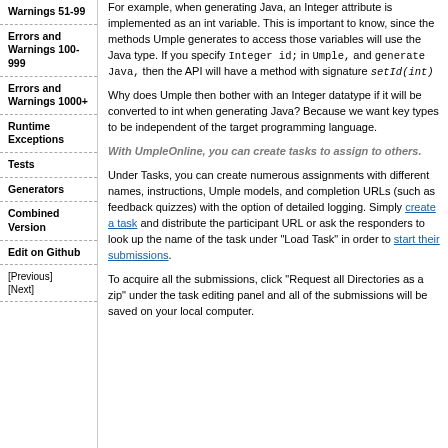Warnings 51-99
Errors and Warnings 100-999
Errors and Warnings 1000+
Runtime Exceptions
Tests
Generators
Combined Version
Edit on Github
[Previous] [Next]
For example, when generating Java, an Integer attribute is implemented as an int variable. This is important to know, since the methods Umple generates to access those variables will use the Java type. If you specify Integer id; in Umple, and generate Java, then the API will have a method with signature setId(int)
Why does Umple then bother with an Integer datatype if it will be converted to int when generating Java? Because we want key types to be independent of the target programming language.
With UmpleOnline, you can create tasks to assign to others.
Under Tasks, you can create numerous assignments with different names, instructions, Umple models, and completion URLs (such as feedback quizzes) with the option of detailed logging. Simply create a task and distribute the participant URL or ask the responders to look up the name of the task under "Load Task" in order to start their submissions.
To acquire all the submissions, click "Request all Directories as a zip" under the task editing panel and all of the submissions will be saved on your local computer.